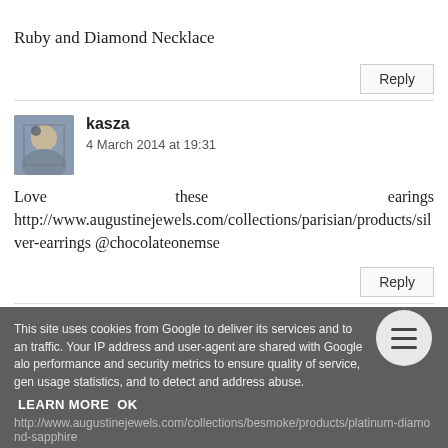Ruby and Diamond Necklace
Reply
kasza
4 March 2014 at 19:31
Love these earings http://www.augustinejewels.com/collections/parisian/products/silver-earrings @chocolateonemse
Reply
This site uses cookies from Google to deliver its services and to analyze traffic. Your IP address and user-agent are shared with Google along with performance and security metrics to ensure quality of service, generate usage statistics, and to detect and address abuse.
LEARN MORE   OK
http://www.augustinejewels.com/collections/besmoke/products/platinum-diamond-sapphire